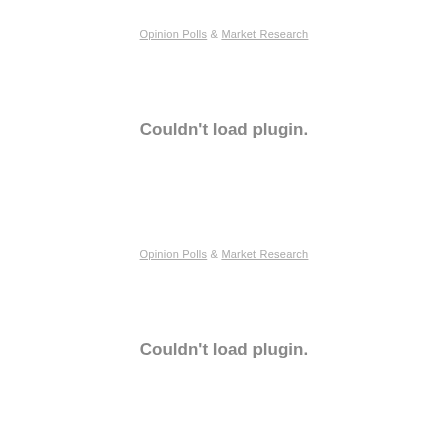Opinion Polls & Market Research
Couldn't load plugin.
Opinion Polls & Market Research
Couldn't load plugin.